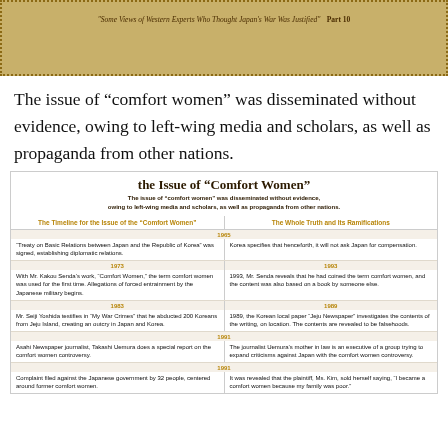"Some Views of Western Experts Who Thought Japan's War Was Justified" Part 10
The issue of “comfort women” was disseminated without evidence, owing to left-wing media and scholars, as well as propaganda from other nations.
the Issue of “Comfort Women”
The issue of “comfort women” was disseminated without evidence, owing to left-wing media and scholars, as well as propaganda from other nations.
| The Timeline for the Issue of the “Comfort Women” | The Whole Truth and Its Ramifications |
| --- | --- |
| 1965 | 1965 |
| “Treaty on Basic Relations between Japan and the Republic of Korea” was signed, establishing diplomatic relations. | Korea specifies that henceforth, it will not ask Japan for compensation. |
| 1973 | 1993 |
| With Mr. Kakou Senda’s work, “Comfort Women,” the term comfort women was used for the first time. Allegations of forced entrainment by the Japanese military begins. | 1993, Mr. Senda reveals that he had coined the term comfort women, and the content was also based on a book by someone else. |
| 1983 | 1989 |
| Mr. Seiji Yoshida testifies in “My War Crimes” that he abducted 200 Koreans from Jeju Island, creating an outcry in Japan and Korea. | 1989, the Korean local paper “Jeju Newspaper” investigates the contents of the writing, on location. The contents are revealed to be falsehoods. |
| 1991 |  |
| Asahi Newspaper journalist, Takashi Uemura does a special report on the comfort women controversy. | The journalist Uemura’s mother in law is an executive of a group trying to expand criticisms against Japan with the comfort women controversy. |
| 1991 |  |
| Complaint filed against the Japanese government by 32 people, centered around former comfort women. | It was revealed that the plaintiff, Ms. Kim, sold herself saying, “I became a comfort women because my family was poor.” |